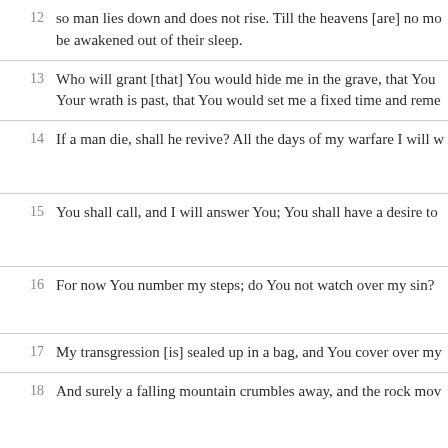12 so man lies down and does not rise. Till the heavens [are] no more, they shall not awake, nor be awakened out of their sleep.
13 Who will grant [that] You would hide me in the grave, that You would conceal me until Your wrath is past, that You would set me a fixed time and remember me!
14 If a man die, shall he revive? All the days of my warfare I will wait, till my relief comes.
15 You shall call, and I will answer You; You shall have a desire to the work of Your hands.
16 For now You number my steps; do You not watch over my sin?
17 My transgression [is] sealed up in a bag, and You cover over my iniquity.
18 And surely a falling mountain crumbles away, and the rock moves from its place.